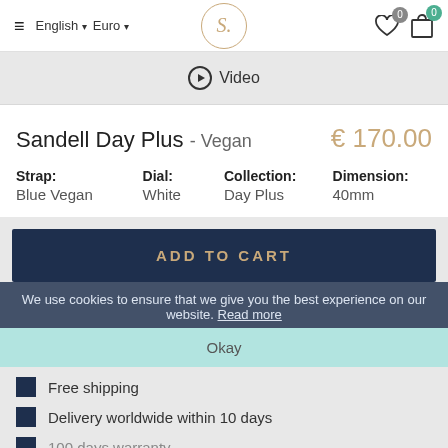English | Euro | S. | 0 (wishlist) | 0 (cart)
▶ Video
Sandell Day Plus - Vegan  € 170.00
Strap: Blue Vegan  Dial: White  Collection: Day Plus  Dimension: 40mm
ADD TO CART
We use cookies to ensure that we give you the best experience on our website. Read more
Okay
Free shipping
Delivery worldwide within 10 days
100 days warranty